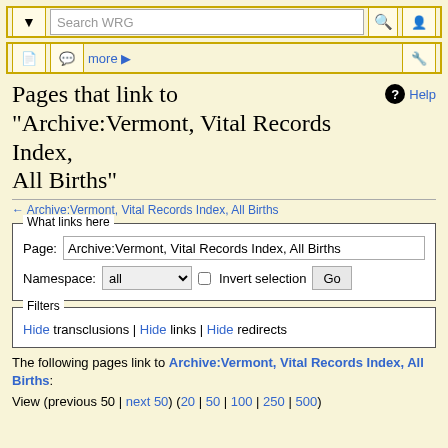Search WRG toolbar
Pages that link to "Archive:Vermont, Vital Records Index, All Births"
← Archive:Vermont, Vital Records Index, All Births
What links here
Page: Archive:Vermont, Vital Records Index, All Births
Namespace: all   Invert selection  Go
Filters
Hide transclusions | Hide links | Hide redirects
The following pages link to Archive:Vermont, Vital Records Index, All Births:
View (previous 50 | next 50) (20 | 50 | 100 | 250 | 500)